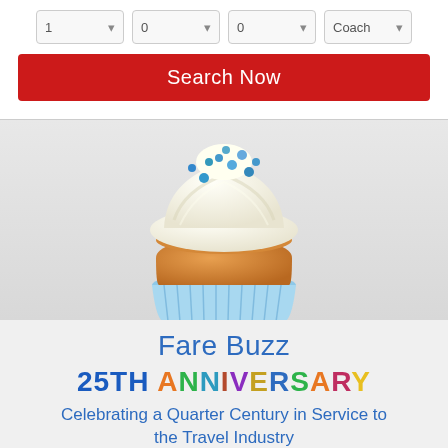[Figure (screenshot): Form dropdown fields showing values: 1, 0, 0, Coach]
[Figure (illustration): A cupcake with white frosting and blue sprinkles in a blue striped paper cup, against a light grey background]
Fare Buzz
25TH ANNIVERSARY
Celebrating a Quarter Century in Service to the Travel Industry